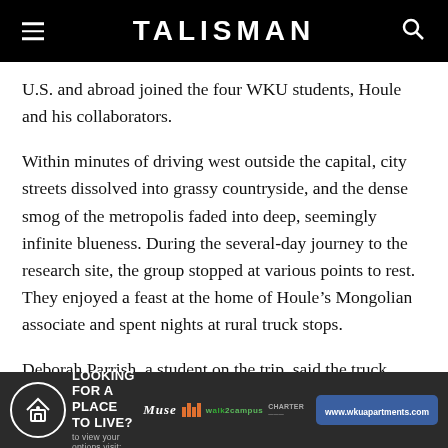TALISMAN
U.S. and abroad joined the four WKU students, Houle and his collaborators.
Within minutes of driving west outside the capital, city streets dissolved into grassy countryside, and the dense smog of the metropolis faded into deep, seemingly infinite blueness. During the several-day journey to the research site, the group stopped at various points to rest. They enjoyed a feast at the home of Houle’s Mongolian associate and spent nights at rural truck stops.
Deborah Parrish, a student on the trip, said the truck stops usually consisted of about two gas pumps and a shed. She experienced her first culture shock when she had to use a pit toilet at one of the stops. Two wooden boards rested on each
[Figure (infographic): Advertisement banner: LOOKING FOR A PLACE TO LIVE? to view your options visit: www.wkuapartments.com with logos for Muse, Columns, walk2campus, and Charter.]